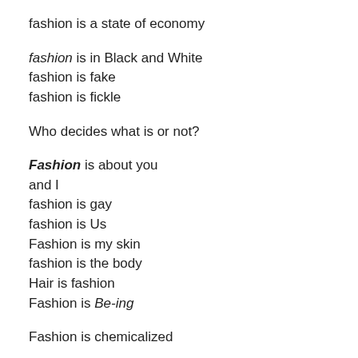fashion is a state of economy
fashion is in Black and White
fashion is fake
fashion is fickle
Who decides what is or not?
Fashion is about you
and I
fashion is gay
fashion is Us
Fashion is my skin
fashion is the body
Hair is fashion
Fashion is Be-ing
Fashion is chemicalized